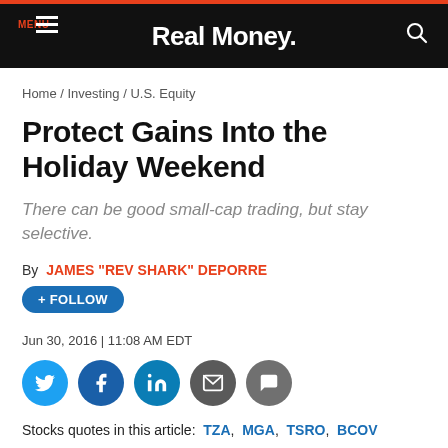Real Money.
Home / Investing / U.S. Equity
Protect Gains Into the Holiday Weekend
There can be good small-cap trading, but stay selective.
By JAMES "REV SHARK" DEPORRE
+ FOLLOW
Jun 30, 2016 | 11:08 AM EDT
[Figure (infographic): Social media share icons: Twitter (blue), Facebook (dark blue), LinkedIn (blue), Email (grey), Comment (grey)]
Stocks quotes in this article: TZA, MGA, TSRO, BCOV